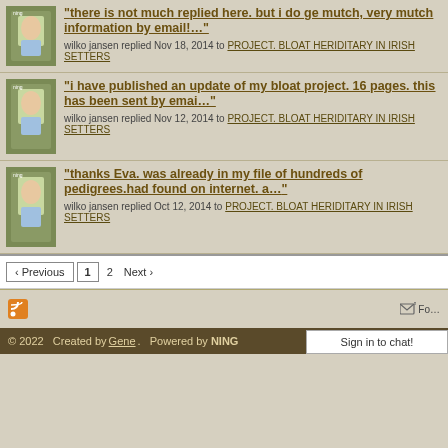"there is not much replied here. but i do ge mutch, very mutch information by email!…" wilko jansen replied Nov 18, 2014 to PROJECT. BLOAT HERIDITARY IN IRISH SETTERS
"i have published an update of my bloat project. 16 pages. this has been sent by emai…" wilko jansen replied Nov 12, 2014 to PROJECT. BLOAT HERIDITARY IN IRISH SETTERS
"thanks Eva. was already in my file of hundreds of pedigrees.had found on internet. a…" wilko jansen replied Oct 12, 2014 to PROJECT. BLOAT HERIDITARY IN IRISH SETTERS
‹ Previous  1  2  Next ›
© 2022   Created by Gene.   Powered by  NING